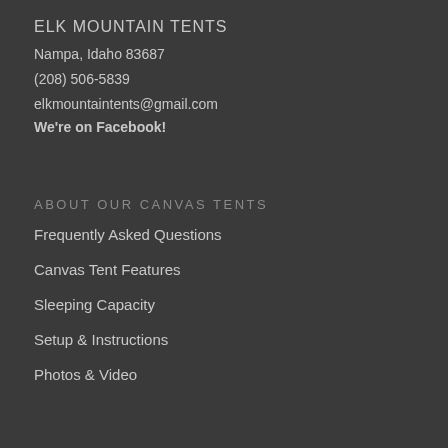ELK MOUNTAIN TENTS
Nampa, Idaho 83687
(208) 506-5839
elkmountaintents@gmail.com
We're on Facebook!
ABOUT OUR CANVAS TENTS
Frequently Asked Questions
Canvas Tent Features
Sleeping Capacity
Setup & Instructions
Photos & Video